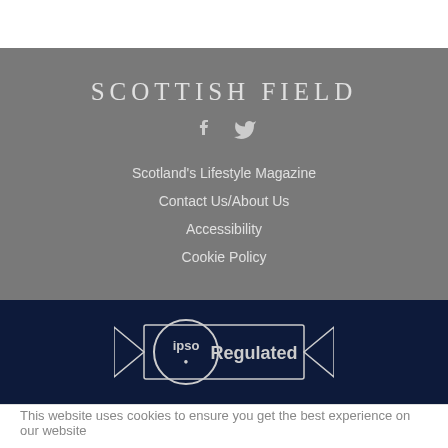SCOTTISH FIELD
Scotland's Lifestyle Magazine
Contact Us/About Us
Accessibility
Cookie Policy
[Figure (logo): IPSO Regulated badge — circular IPSO logo on left, 'Regulated' text on right, on dark navy background with decorative ribbon shape]
This website uses cookies to ensure you get the best experience on our website
Got it!